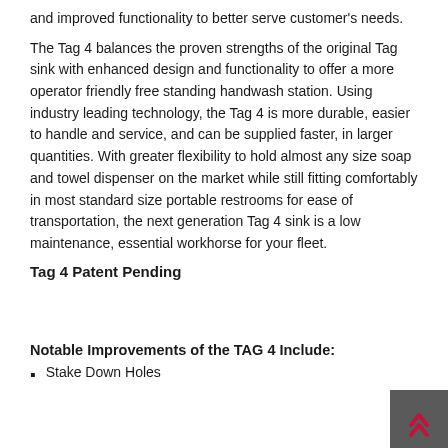and improved functionality to better serve customer's needs.
The Tag 4 balances the proven strengths of the original Tag sink with enhanced design and functionality to offer a more operator friendly free standing handwash station. Using industry leading technology, the Tag 4 is more durable, easier to handle and service, and can be supplied faster, in larger quantities. With greater flexibility to hold almost any size soap and towel dispenser on the market while still fitting comfortably in most standard size portable restrooms for ease of transportation, the next generation Tag 4 sink is a low maintenance, essential workhorse for your fleet.
Tag 4 Patent Pending
Notable Improvements of the TAG 4 Include:
Stake Down Holes